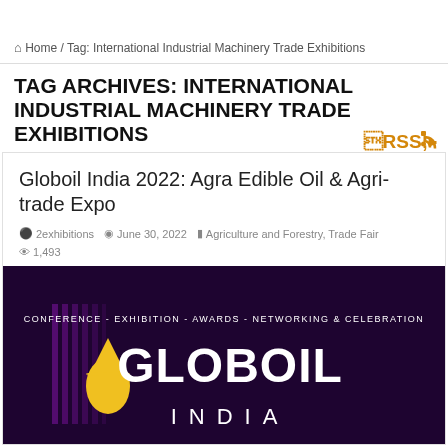Home / Tag: International Industrial Machinery Trade Exhibitions
TAG ARCHIVES: INTERNATIONAL INDUSTRIAL MACHINERY TRADE EXHIBITIONS
Globoil India 2022: Agra Edible Oil & Agri-trade Expo
2exhibitions  June 30, 2022  Agriculture and Forestry, Trade Fair  1,493
[Figure (photo): Globoil India banner with dark purple background showing 'CONFERENCE - EXHIBITION - AWARDS - NETWORKING & CELEBRATION' text and 'GLOBOIL INDIA' logo with yellow oil drop icon and purple striped design]